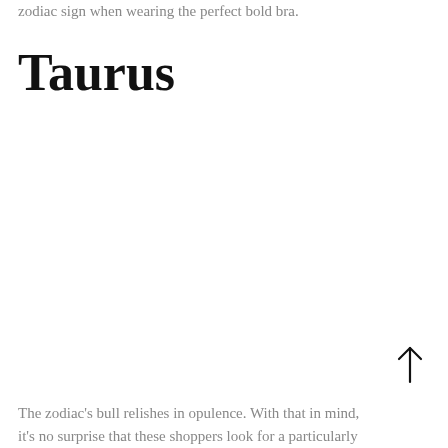zodiac sign when wearing the perfect bold bra.
Taurus
[Figure (photo): Large blank/white image area representing a photo of a Taurus bra product (image not visible in crop)]
The zodiac's bull relishes in opulence. With that in mind, it's no surprise that these shoppers look for a particularly